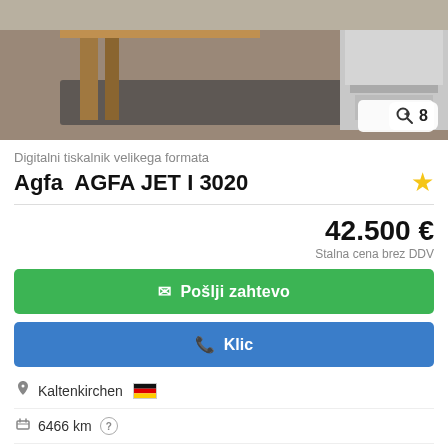[Figure (photo): Partial view of a large format digital printer in a warehouse/workshop setting]
Digitalni tiskalnik velikega formata
Agfa  AGFA JET I 3020
42.500 €
Stalna cena brez DDV
Pošlji zahtevo
Klic
Kaltenkirchen
6466 km
2014
dobro (rabljeno)
Shrani iskanje